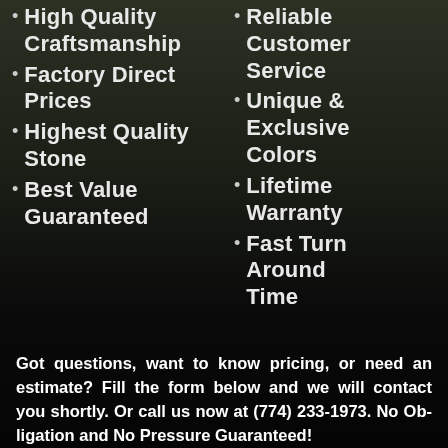High Quality Craftsmanship
Factory Direct Prices
Highest Quality Stone
Best Value Guaranteed
Reliable Customer Service
Unique & Exclusive Colors
Lifetime Warranty
Fast Turn Around Time
Got questions, want to know pricing, or need an estimate? Fill the form below and we will contact you shortly. Or call us now at (774) 233-1973. No Obligation and No Pressure Guaranteed!